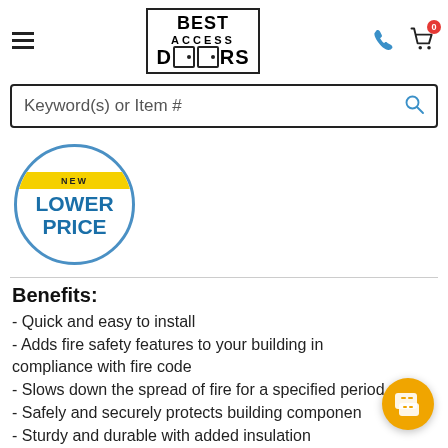[Figure (logo): Best Access Doors logo in a rectangular border, with hamburger menu on left and phone/cart icons on right in the header]
Keyword(s) or Item #
[Figure (infographic): New Lower Price badge: circular blue badge with yellow ribbon reading NEW and blue bold text LOWER PRICE]
Benefits:
- Quick and easy to install
- Adds fire safety features to your building in compliance with fire code
- Slows down the spread of fire for a specified period
- Safely and securely protects building components
- Sturdy and durable with added insulation
- Contributes to your ability to achieve LEED certification